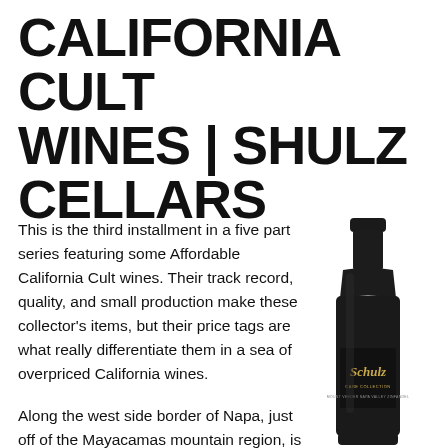CALIFORNIA CULT WINES | SHULZ CELLARS
This is the third installment in a five part series featuring some Affordable California Cult wines. Their track record, quality, and small production make these collector’s items, but their price tags are what really differentiate them in a sea of overpriced California wines.
Along the west side border of Napa, just off of the Mayacamas mountain region, is the Mt. Veeder region. Responsible for a small fraction of the Valley’s wines, Mt. Veeder doesn’t
[Figure (photo): A dark wine bottle with a black label showing the Schulz Cellars branding and gold text, Mt. Veeder Napa Valley Zinfandel.]